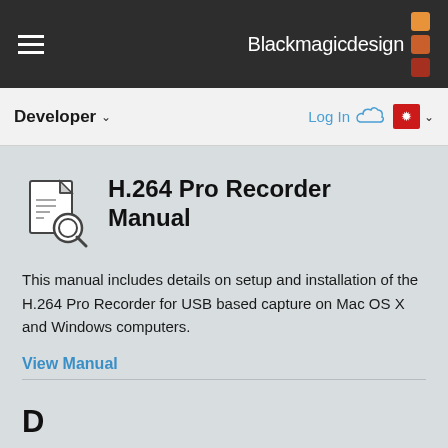Blackmagicdesign
Developer  Log In
H.264 Pro Recorder Manual
This manual includes details on setup and installation of the H.264 Pro Recorder for USB based capture on Mac OS X and Windows computers.
View Manual